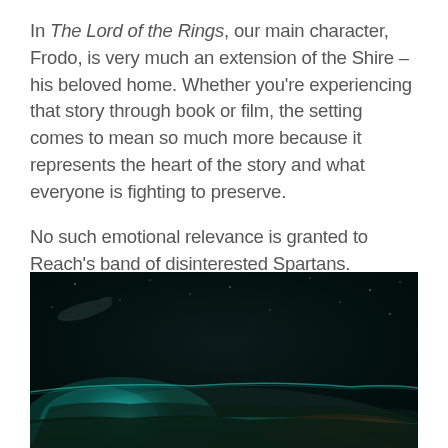In The Lord of the Rings, our main character, Frodo, is very much an extension of the Shire – his beloved home. Whether you're experiencing that story through book or film, the setting comes to mean so much more because it represents the heart of the story and what everyone is fighting to preserve.

No such emotional relevance is granted to Reach's band of disinterested Spartans.
[Figure (photo): A dark space scene showing a planet's surface (Reach) from orbit, with teal/cyan atmospheric glow along the horizon, clouds, and orange city lights or fires visible below. A spacecraft silhouette is visible in the upper left area against the dark starfield.]